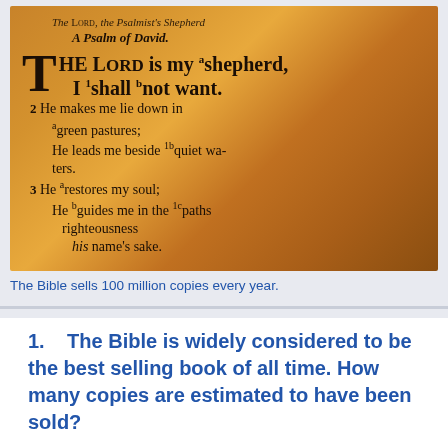[Figure (photo): Close-up photograph of a Bible open to Psalm 23, showing the text on an aged golden-orange page. Visible text includes: The Lord, the Psalmist's Shepherd; A Psalm of David; THE LORD is my shepherd, I shall not want. He makes me lie down in green pastures; He leads me beside quiet waters. He restores my soul; He guides me in the paths of righteousness for his name's sake.]
The Bible sells 100 million copies every year.
1.  The Bible is widely considered to be the best selling book of all time. How many copies are estimated to have been sold?